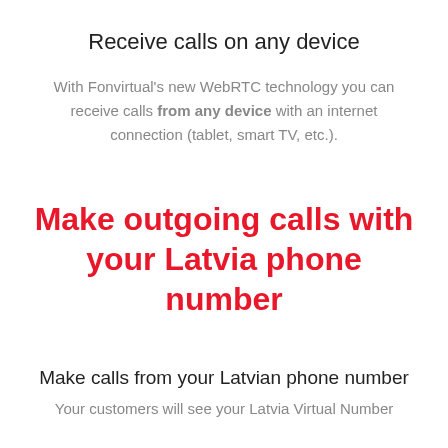Receive calls on any device
With Fonvirtual's new WebRTC technology you can receive calls from any device with an internet connection (tablet, smart TV, etc.).
Make outgoing calls with your Latvia phone number
Make calls from your Latvian phone number
Your customers will see your Latvia Virtual Number